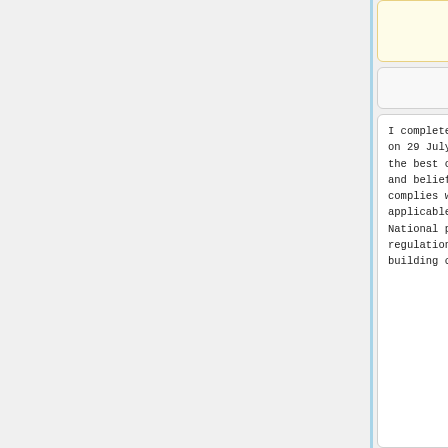product.
I completed this project on 29 July 2017, and to the best of my knowledge and belief the work complies with the applicable parts of National planning regulations, local building control, and
I completed this project on 29 July 2017, and to the best of my knowledge and belief the work complies with the applicable parts of National planning regulations, local building control, and